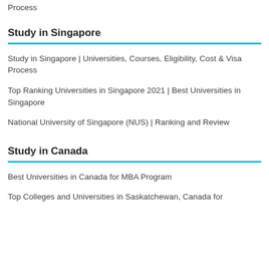Process
Study in Singapore
Study in Singapore | Universities, Courses, Eligibility, Cost & Visa Process
Top Ranking Universities in Singapore 2021 | Best Universities in Singapore
National University of Singapore (NUS) | Ranking and Review
Study in Canada
Best Universities in Canada for MBA Program
Top Colleges and Universities in Saskatchewan, Canada for